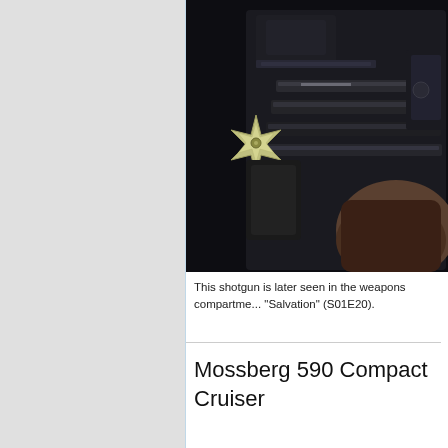[Figure (photo): Dark photograph showing multiple shotgun barrels and a metallic shuriken throwing star laid out on a dark surface, with a person's hand visible in the lower right corner.]
This shotgun is later seen in the weapons compartme... "Salvation" (S01E20).
Mossberg 590 Compact Cruiser
[Figure (photo): Bloomingdale's advertisement banner showing the bloomingdales logo, a woman wearing a large blue hat, the text 'View Today's Top Deals!' and a 'SHOP NOW >' button.]